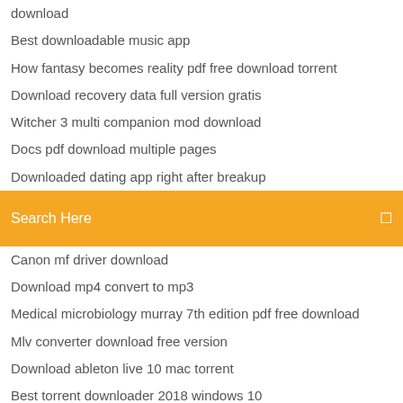download
Best downloadable music app
How fantasy becomes reality pdf free download torrent
Download recovery data full version gratis
Witcher 3 multi companion mod download
Docs pdf download multiple pages
Downloaded dating app right after breakup
[Figure (screenshot): Orange search bar with 'Search Here' placeholder text and a search icon on the right]
Canon mf driver download
Download mp4 convert to mp3
Medical microbiology murray 7th edition pdf free download
Mlv converter download free version
Download ableton live 10 mac torrent
Best torrent downloader 2018 windows 10
300 movie script pdf download
Tiantian support driver download
Pavtube video converter ultimate download free
Actiware software download version 6.0.9